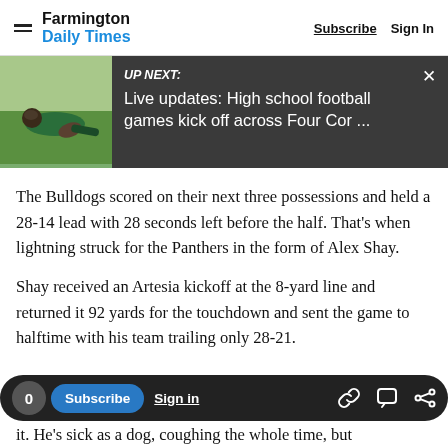Farmington Daily Times  Subscribe  Sign In
[Figure (screenshot): UP NEXT banner with football player image on grass, headline: Live updates: High school football games kick off across Four Cor ...]
The Bulldogs scored on their next three possessions and held a 28-14 lead with 28 seconds left before the half. That’s when lightning struck for the Panthers in the form of Alex Shay.
Shay received an Artesia kickoff at the 8-yard line and returned it 92 yards for the touchdown and sent the game to halftime with his team trailing only 28-21.
it. He’s sick as a dog, coughing the whole time, but